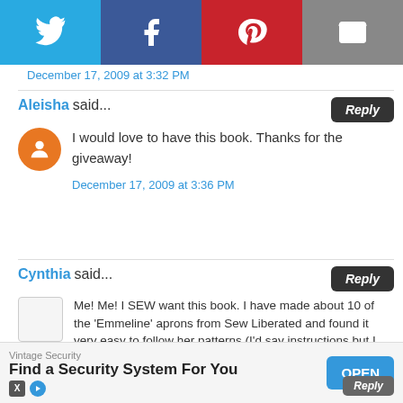[Figure (infographic): Social share bar with Twitter (blue), Facebook (dark blue), Pinterest (red), and Email (grey) buttons]
December 17, 2009 at 3:32 PM
Aleisha said...
I would love to have this book. Thanks for the giveaway!
December 17, 2009 at 3:36 PM
Cynthia said...
Me! Me! I SEW want this book. I have made about 10 of the 'Emmeline' aprons from Sew Liberated and found it very easy to follow her patterns (I'd say instructions but I lost the instructions and was still able to sew them up just from her quality pattern.
December 17, 2009 at 3:37 PM
Vintage Security
Find a Security System For You
OPEN